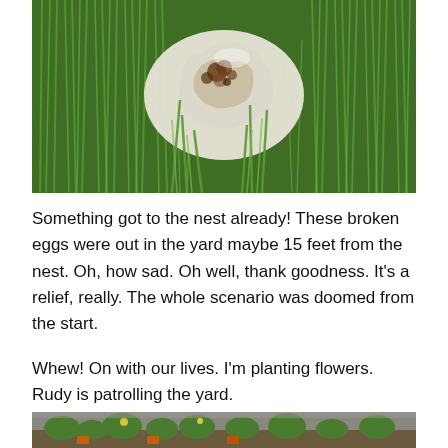[Figure (photo): Close-up photo of a broken white egg shell with brown speckles/stains, lying in green grass. The egg is cracked open and the shell appears empty, surrounded by bright green grass blades.]
Something got to the nest already! These broken eggs were out in the yard maybe 15 feet from the nest. Oh, how sad. Oh well, thank goodness. It's a relief, really. The whole scenario was doomed from the start.
Whew! On with our lives. I'm planting flowers. Rudy is patrolling the yard.
[Figure (photo): Partial photo at bottom of page showing a garden scene with green plants and what appears to be flower pots or planters, partially cut off.]